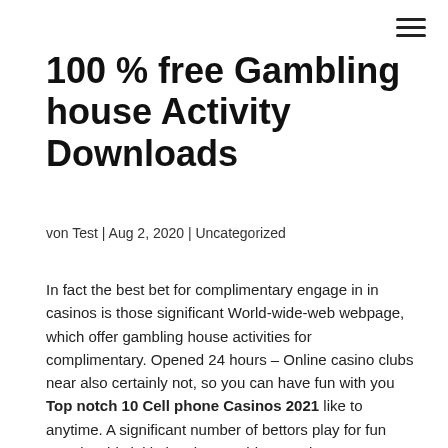≡
100 % free Gambling house Activity Downloads
von Test | Aug 2, 2020 | Uncategorized
In fact the best bet for complimentary engage in in casinos is those significant World-wide-web webpage, which offer gambling house activities for complimentary. Opened 24 hours – Online casino clubs near also certainly not, so you can have fun with you Top notch 10 Cell phone Casinos 2021 like to anytime. A significant number of bettors play for fun merely. This initiative does nothing to advance sports wagering, and instead expands the tribal casinos' tax-